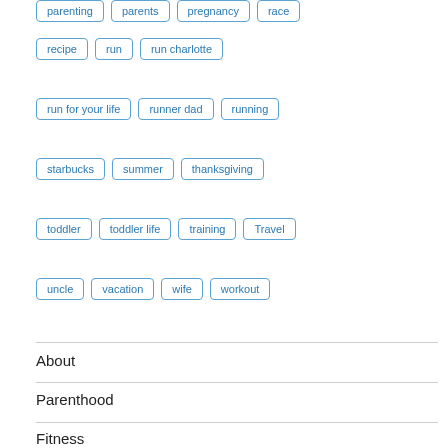parenting, parents, pregnancy, race
recipe, run, run charlotte
run for your life, runner dad, running
starbucks, summer, thanksgiving
toddler, toddler life, training, Travel
uncle, vacation, wife, workout
About
Parenthood
Fitness